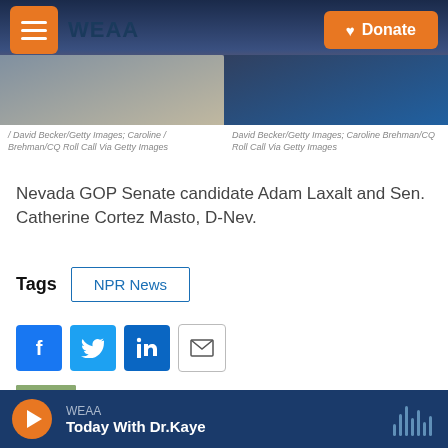WEAA | Donate
[Figure (photo): Two side-by-side photos: Nevada GOP Senate candidate Adam Laxalt and Sen. Catherine Cortez Masto, D-Nev.]
/ David Becker/Getty Images; Caroline / Brehman/CQ Roll Call Via Getty Images
David Becker/Getty Images; Caroline Brehman/CQ Roll Call Via Getty Images
Nevada GOP Senate candidate Adam Laxalt and Sen. Catherine Cortez Masto, D-Nev.
Tags
NPR News
[Figure (infographic): Social share buttons: Facebook, Twitter, LinkedIn, Email]
[Figure (photo): Headshot photo of Deepa Shivaram]
Deepa Shivaram
WEAA
Today With Dr.Kaye